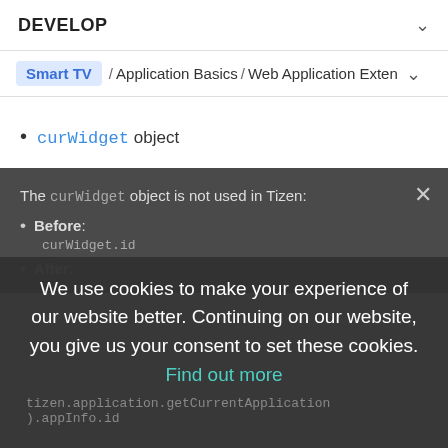DEVELOP
Smart TV / Application Basics / Web Application Exten
curWidget object
The curWidget object is not used in Tizen:
Before:
curWidget.id
After:
tizen.application.getCurrentApplication().appInfo.id
We use cookies to make your experience of our website better. Continuing on our website, you give us your consent to set these cookies. Find out more